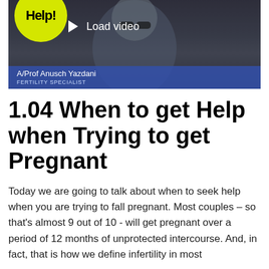[Figure (screenshot): Video thumbnail showing A/Prof Anusch Yazdani, Fertility Specialist, with a 'Help!' logo circle and 'Load video' play button overlay. Blue name bar at bottom.]
1.04 When to get Help when Trying to get Pregnant
Today we are going to talk about when to seek help when you are trying to fall pregnant. Most couples – so that's almost 9 out of 10 - will get pregnant over a period of 12 months of unprotected intercourse. And, in fact, that is how we define infertility in most